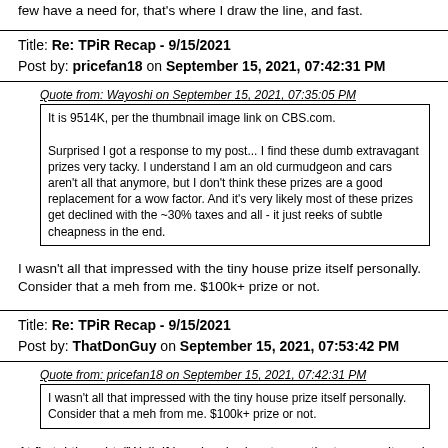few have a need for, that's where I draw the line, and fast.
Title: Re: TPiR Recap - 9/15/2021
Post by: pricefan18 on September 15, 2021, 07:42:31 PM
Quote from: Wayoshi on September 15, 2021, 07:35:05 PM
It is 9514K, per the thumbnail image link on CBS.com.

Surprised I got a response to my post... I find these dumb extravagant prizes very tacky. I understand I am an old curmudgeon and cars aren't all that anymore, but I don't think these prizes are a good replacement for a wow factor. And it's very likely most of these prizes get declined with the ~30% taxes and all - it just reeks of subtle cheapness in the end.
I wasn't all that impressed with the tiny house prize itself personally. Consider that a meh from me. $100k+ prize or not.
Title: Re: TPiR Recap - 9/15/2021
Post by: ThatDonGuy on September 15, 2021, 07:53:42 PM
Quote from: pricefan18 on September 15, 2021, 07:42:31 PM
I wasn't all that impressed with the tiny house prize itself personally. Consider that a meh from me. $100k+ prize or not.
At first, I thought, "Well, if he wins, he has to pay the taxes on it, and then buy the land to put it on, and that's going to cost much more than $5000; is this one of those prizes where the producers expect that a winner would end up turning it down?", but then I noticed: it's on wheels - it's a glorified 26' trailer.